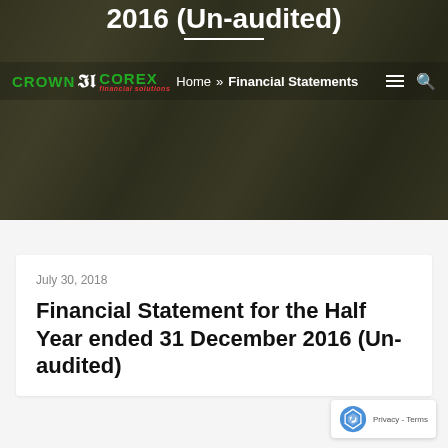2016 (Un-audited)
Home » Financial Statements
July 30, 2018
Financial Statement for the Half Year ended 31 December 2016 (Un-audited)